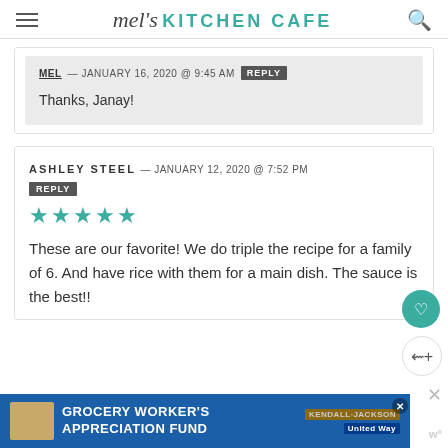mel's KITCHEN CAFE
MEL — JANUARY 16, 2020 @ 9:45 AM  REPLY
Thanks, Janay!
ASHLEY STEEL — JANUARY 12, 2020 @ 7:52 PM  REPLY
★★★★★
These are our favorite! We do triple the recipe for a family of 6. And have rice with them for a main dish. The sauce is the best!!